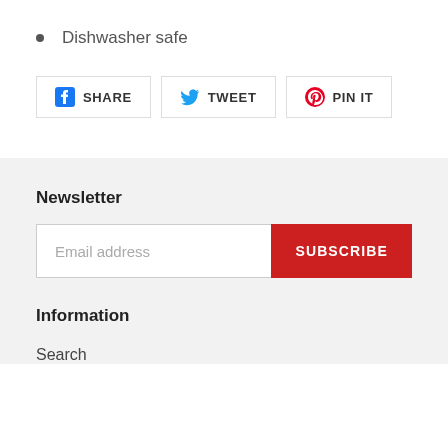Dishwasher safe
[Figure (other): Social share buttons: Facebook SHARE, Twitter TWEET, Pinterest PIN IT]
Newsletter
[Figure (other): Email address input field with red SUBSCRIBE button]
Information
Search